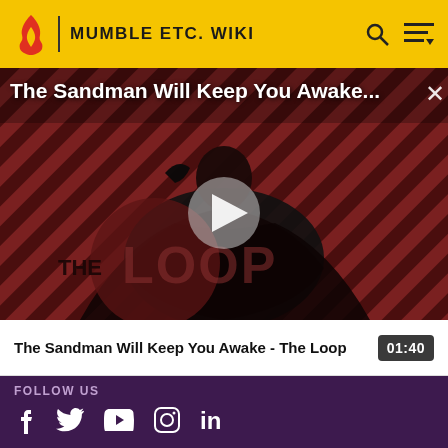MUMBLE ETC. WIKI
[Figure (screenshot): Video thumbnail for 'The Sandman Will Keep You Awake - The Loop' showing a dark-caped figure against a red and black diagonal striped background with 'THE LOOP' logo. A play button is shown in the center.]
The Sandman Will Keep You Awake...
The Sandman Will Keep You Awake - The Loop
01:40
FOLLOW US
f  Twitter  YouTube  Instagram  in